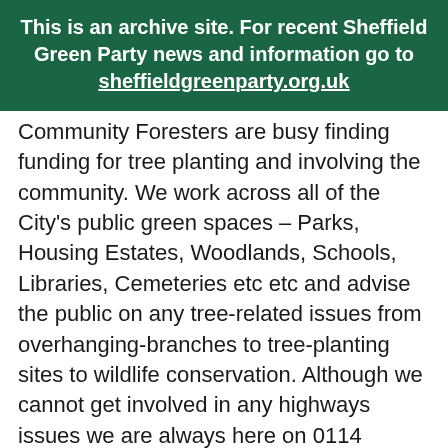This is an archive site. For recent Sheffield Green Party news and information go to sheffieldgreenparty.org.uk
Community Foresters are busy finding funding for tree planting and involving the community. We work across all of the City's public green spaces – Parks, Housing Estates, Woodlands, Schools, Libraries, Cemeteries etc etc and advise the public on any tree-related issues from overhanging-branches to tree-planting sites to wildlife conservation. Although we cannot get involved in any highways issues we are always here on 0114 2500500, and our main concern is safeguarding the city's trees."
Following the meeting, Sheffield Green Party have continued to press the City Council and Amey to consult residents about the Streets Ahead work, which aims to